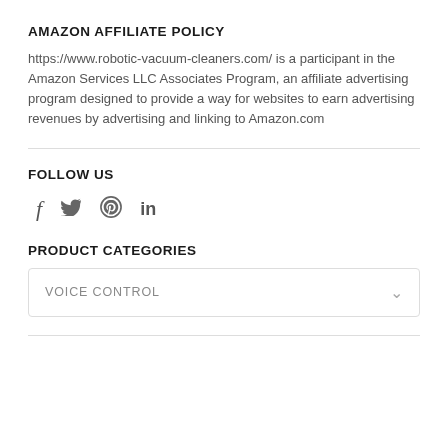AMAZON AFFILIATE POLICY
https://www.robotic-vacuum-cleaners.com/ is a participant in the Amazon Services LLC Associates Program, an affiliate advertising program designed to provide a way for websites to earn advertising revenues by advertising and linking to Amazon.com
FOLLOW US
[Figure (other): Social media icons: Facebook (f), Twitter (bird), Pinterest (p circle), LinkedIn (in)]
PRODUCT CATEGORIES
VOICE CONTROL (dropdown)